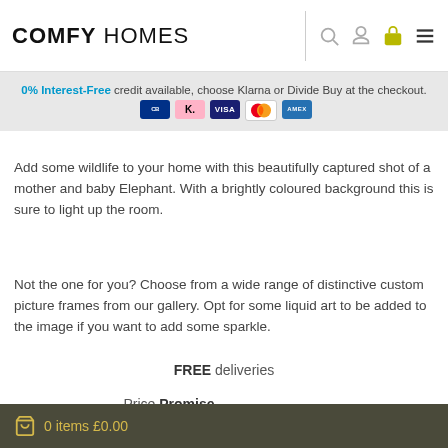COMFY HOMES
0% Interest-Free credit available, choose Klarna or Divide Buy at the checkout.
Add some wildlife to your home with this beautifully captured shot of a mother and baby Elephant. With a brightly coloured background this is sure to light up the room.
Not the one for you? Choose from a wide range of distinctive custom picture frames from our gallery. Opt for some liquid art to be added to the image if you want to add some sparkle.
FREE deliveries
Price Promise
0 items £0.00